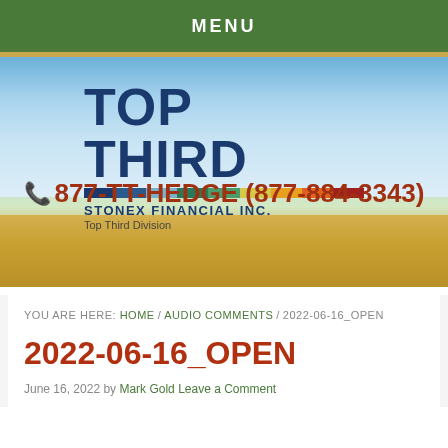MENU
[Figure (logo): Top Third Stonex Financial Inc. Top Third Division logo with colorful horizontal bar, displayed over a sky and wheat field background with phone number 877-TT-HEDGE (877-884-3343)]
YOU ARE HERE: HOME / AUDIO COMMENTS / 2022-06-16_OPEN
2022-06-16_OPEN
June 16, 2022 by Mark Gold Leave a Comment